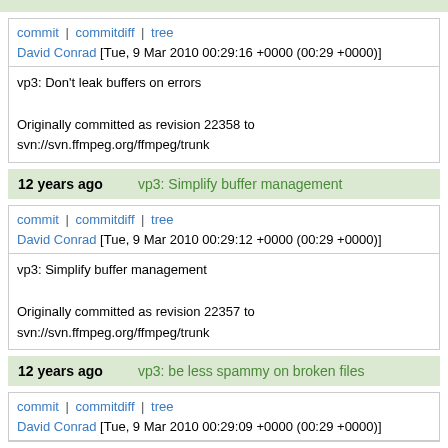commit | commitdiff | tree
David Conrad [Tue, 9 Mar 2010 00:29:16 +0000 (00:29 +0000)]
vp3: Don't leak buffers on errors

Originally committed as revision 22358 to svn://svn.ffmpeg.org/ffmpeg/trunk
12 years ago    vp3: Simplify buffer management
commit | commitdiff | tree
David Conrad [Tue, 9 Mar 2010 00:29:12 +0000 (00:29 +0000)]
vp3: Simplify buffer management

Originally committed as revision 22357 to svn://svn.ffmpeg.org/ffmpeg/trunk
12 years ago    vp3: be less spammy on broken files
commit | commitdiff | tree
David Conrad [Tue, 9 Mar 2010 00:29:09 +0000 (00:29 +0000)]